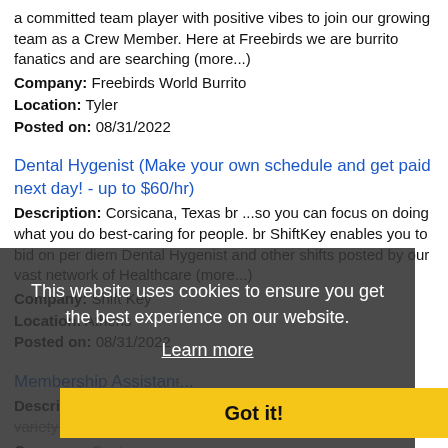a committed team player with positive vibes to join our growing team as a Crew Member. Here at Freebirds we are burrito fanatics and are searching (more...)
Company: Freebirds World Burrito
Location: Tyler
Posted on: 08/31/2022
Dental Hygenist (Make your own schedule and get paid next day! - up to $60/hr)
Description: Corsicana, Texas br ...so you can focus on doing what you do best-caring for people. br ShiftKey enables you to bid on per diem Dental Hygenist and other shifts posted by our vast network of Healthcare (more...)
Company: Shift Key
Location: Athens
Posted on: 08/31/2022
Membership Assis[...]
Description: Costco is hiring Membership Assistants to fill a variety of Part-Time and Full-Time shifts. Responsibilities
Company: Costco
Location: Sulphur Springs
Posted on: 08/31/2022
This website uses cookies to ensure you get the best experience on our website.
Learn more
Got it!